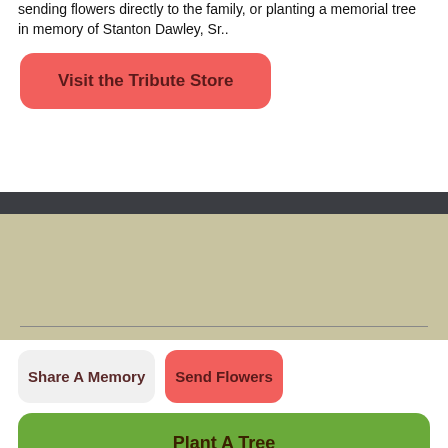sending flowers directly to the family, or planting a memorial tree in memory of Stanton Dawley, Sr..
Visit the Tribute Store
Share A Memory
Send Flowers
Plant A Tree